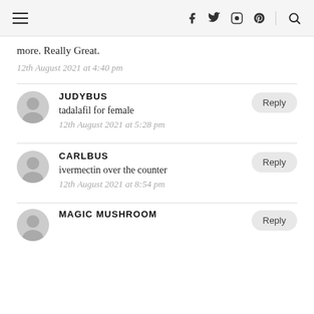Navigation header with hamburger menu, social icons (Facebook, Twitter, Instagram, Pinterest), and search icon
more. Really Great.
12th August 2021 at 4:40 pm
JUDYBUS
tadalafil for female
12th August 2021 at 5:28 pm
CARLBUS
ivermectin over the counter
12th August 2021 at 8:54 pm
MAGIC MUSHROOM